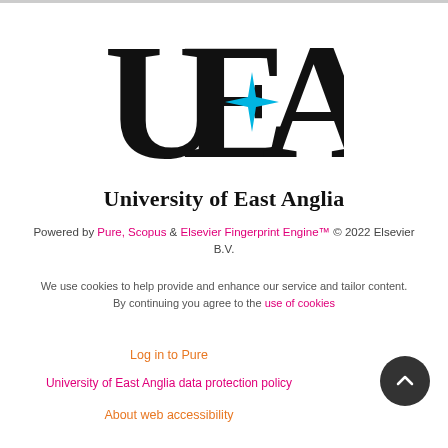[Figure (logo): UEA logo with large block letters U, E, A and a blue star/sparkle graphic, followed by 'University of East Anglia' in bold serif text]
Powered by Pure, Scopus & Elsevier Fingerprint Engine™ © 2022 Elsevier B.V.
We use cookies to help provide and enhance our service and tailor content. By continuing you agree to the use of cookies
Log in to Pure
University of East Anglia data protection policy
About web accessibility